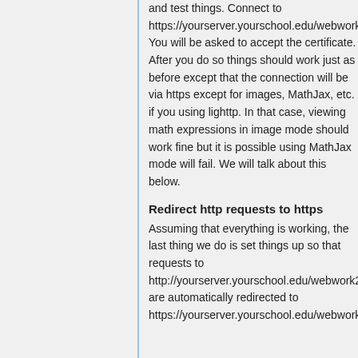and test things. Connect to https://yourserver.yourschool.edu/webwork2 You will be asked to accept the certificate. After you do so things should work just as before except that the connection will be via https except for images, MathJax, etc. if you using lighttp. In that case, viewing math expressions in image mode should work fine but it is possible using MathJax mode will fail. We will talk about this below.
Redirect http requests to https
Assuming that everything is working, the last thing we do is set things up so that requests to http://yourserver.yourschool.edu/webwork2/ are automatically redirected to https://yourserver.yourschool.edu/webwork2